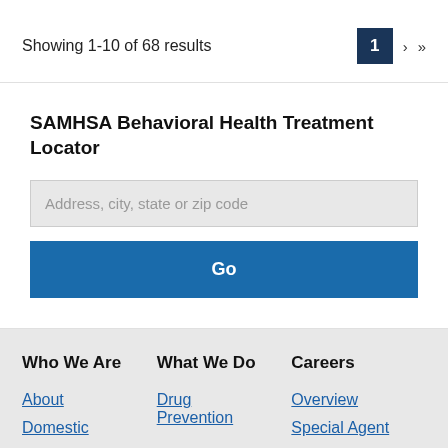Showing 1-10 of 68 results
SAMHSA Behavioral Health Treatment Locator
Address, city, state or zip code
Go
Who We Are
What We Do
Careers
About
Domestic
Drug Prevention
Overview
Special Agent